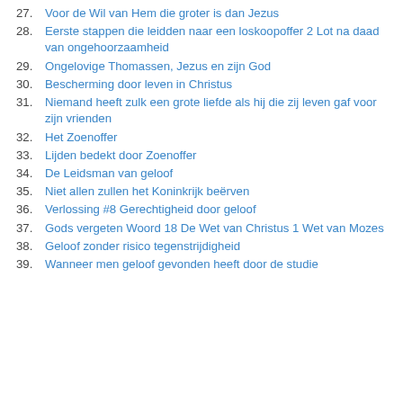27. Voor de Wil van Hem die groter is dan Jezus
28. Eerste stappen die leidden naar een loskoopoffer 2 Lot na daad van ongehoorzaamheid
29. Ongelovige Thomassen, Jezus en zijn God
30. Bescherming door leven in Christus
31. Niemand heeft zulk een grote liefde als hij die zij leven gaf voor zijn vrienden
32. Het Zoenoffer
33. Lijden bedekt door Zoenoffer
34. De Leidsman van geloof
35. Niet allen zullen het Koninkrijk beërven
36. Verlossing #8 Gerechtigheid door geloof
37. Gods vergeten Woord 18 De Wet van Christus 1 Wet van Mozes
38. Geloof zonder risico tegenstrijdigheid
39. Wanneer men geloof gevonden heeft door de studie